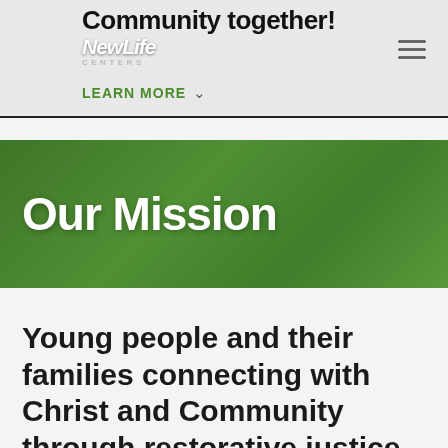Community together!
[Figure (logo): New Life Centers logo with italic script text and 'CENTERS' in small caps below]
LEARN MORE
Our Mission
Young people and their families connecting with Christ and Community through restorative justice,